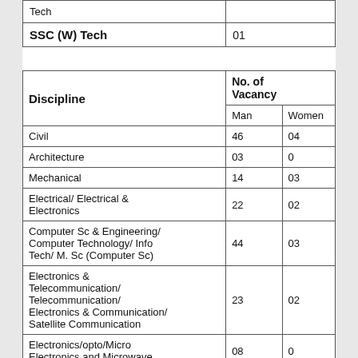|  |  |
| --- | --- |
| Tech |  |
| SSC (W) Tech | 01 |  |
| Discipline | No. of Vacancy |  |
| --- | --- | --- |
|  | Man | Women |
| Civil | 46 | 04 |
| Architecture | 03 | 0 |
| Mechanical | 14 | 03 |
| Electrical/ Electrical & Electronics | 22 | 02 |
| Computer Sc & Engineering/ Computer Technology/ Info Tech/ M. Sc (Computer Sc) | 44 | 03 |
| Electronics & Telecommunication/ Telecommunication/ Electronics & Communication/ Satellite Communication | 23 | 02 |
| Electronics/opto/Micro Electronics and Microwave | 08 | 0 |